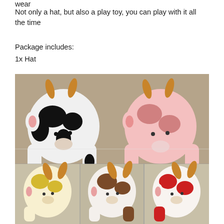wear
Not only a hat, but also a play toy, you can play with it all the time
Package includes:
1x Hat
[Figure (photo): Six plush animal cow-style hats with movable ears and horns displayed on stands. Top row shows a black-and-white cow hat and a pink cow hat; bottom row shows a yellow/white cow hat, a brown/white cow hat, and a red/white cow hat.]